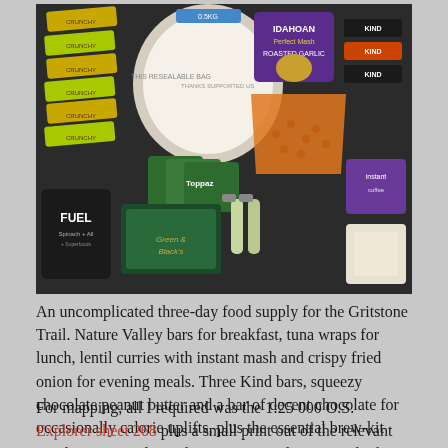[Figure (photo): A flat-lay photograph on a dark background showing a three-day food supply for the Gritstone Trail. Items include multiple Nature Valley Crunchy bars (yellow/green wrappers), flour tortilla wraps in a bag, Toppaz lentil curry packets, Idahoan Roasted Garlic instant mash packet, Kind bars, a bag of orange lentils, crispy fried onion packets, squeezy chocolate tubes, an instant coffee/brew kit packet, a bar of chocolate, and a Fuel bar.]
An uncomplicated three-day food supply for the Gritstone Trail. Nature Valley bars for breakfast, tuna wraps for lunch, lentil curries with instant mash and crispy fried onion for evening meals. Three Kind bars, squeezy chocolate peanut butter and a bar of decent chocolate for occasionally calorie uplifts, plus the essential brew-kit
For mapping, all I required was the 1:25 000 O.S. Explorer sheet 268 plus a small print out of the relevant part between Disley railway station and Lyme Park, this was